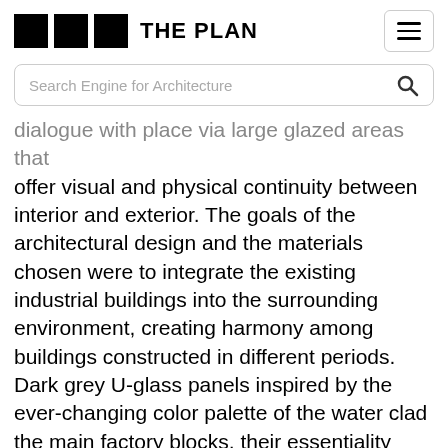THE PLAN
Search Engine for Architecture
dialogue with place via large glazed areas that offer visual and physical continuity between interior and exterior. The goals of the architectural design and the materials chosen were to integrate the existing industrial buildings into the surrounding environment, creating harmony among buildings constructed in different periods. Dark grey U-glass panels inspired by the ever-changing color palette of the water clad the main factory blocks, their essentiality providing visual continuity. The site's productive nature is explicitly expressed not just through the shed-type roofing but by the brutal reinforced concrete chimney stacks and the dark grey color of the external walls. In contrast with the dark colors of the external envelope, luminous